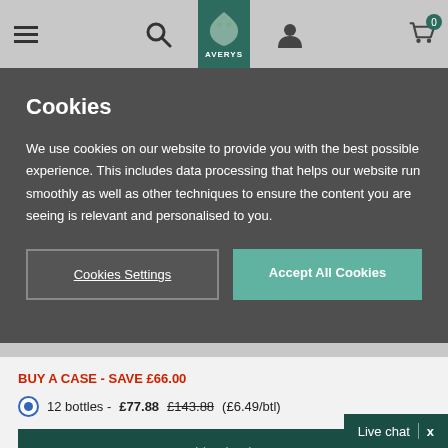[Figure (screenshot): Averys wine website navigation bar with hamburger menu, search icon, Averys logo on dark green background, user icon, and cart icon with 0 badge]
Cookies
We use cookies on our website to provide you with the best possible experience. This includes data processing that helps our website run smoothly as well as other techniques to ensure the content you are seeing is relevant and personalised to you.
Cookies Settings
Accept All Cookies
BUY A CASE - SAVE £66.00
12 bottles - £77.88 £143.88 (£6.49/btl)
Add to basket
Live chat  x